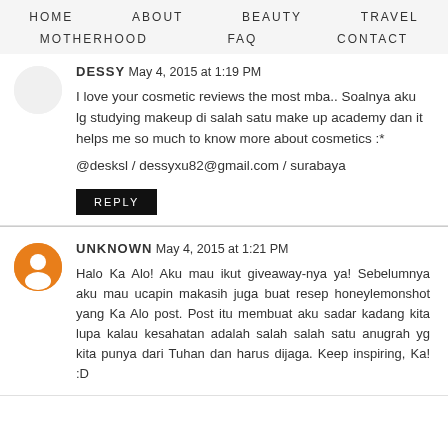HOME  ABOUT  BEAUTY  TRAVEL  MOTHERHOOD  FAQ  CONTACT
DESSY May 4, 2015 at 1:19 PM

I love your cosmetic reviews the most mba.. Soalnya aku lg studying makeup di salah satu make up academy dan it helps me so much to know more about cosmetics :*

@desksl / dessyxu82@gmail.com / surabaya

REPLY
UNKNOWN May 4, 2015 at 1:21 PM

Halo Ka Alo! Aku mau ikut giveaway-nya ya! Sebelumnya aku mau ucapin makasih juga buat resep honeylemonshot yang Ka Alo post. Post itu membuat aku sadar kadang kita lupa kalau kesahatan adalah salah salah satu anugrah yg kita punya dari Tuhan dan harus dijaga. Keep inspiring, Ka! :D